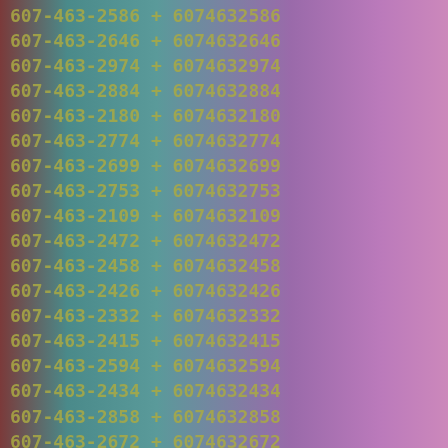607-463-2586 + 6074632586
607-463-2646 + 6074632646
607-463-2974 + 6074632974
607-463-2884 + 6074632884
607-463-2180 + 6074632180
607-463-2774 + 6074632774
607-463-2699 + 6074632699
607-463-2753 + 6074632753
607-463-2109 + 6074632109
607-463-2472 + 6074632472
607-463-2458 + 6074632458
607-463-2426 + 6074632426
607-463-2332 + 6074632332
607-463-2415 + 6074632415
607-463-2594 + 6074632594
607-463-2434 + 6074632434
607-463-2858 + 6074632858
607-463-2672 + 6074632672
607-463-2454 + 6074632454
607-463-2117 + 6074632117
607-463-2780 + 6074632780
607-463-2052 + 6074632052
607-463-2488 + 6074632488